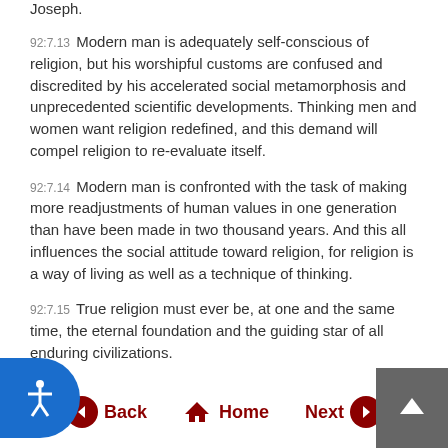Joseph.
92:7.13 Modern man is adequately self-conscious of religion, but his worshipful customs are confused and discredited by his accelerated social metamorphosis and unprecedented scientific developments. Thinking men and women want religion redefined, and this demand will compel religion to re-evaluate itself.
92:7.14 Modern man is confronted with the task of making more readjustments of human values in one generation than have been made in two thousand years. And this all influences the social attitude toward religion, for religion is a way of living as well as a technique of thinking.
92:7.15 True religion must ever be, at one and the same time, the eternal foundation and the guiding star of all enduring civilizations.
92:7.16 [Presented by a Melchizedek of Nebadon.]
Back | Home | Next